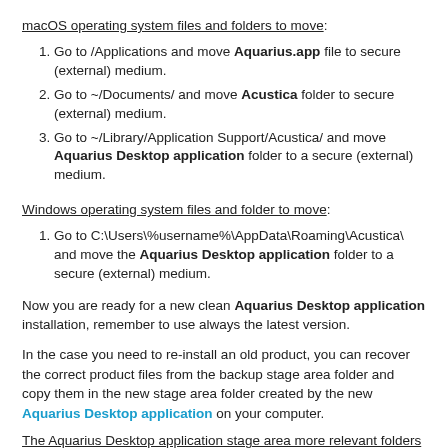macOS operating system files and folders to move:
Go to /Applications and move Aquarius.app file to secure (external) medium.
Go to ~/Documents/ and move Acustica folder to secure (external) medium.
Go to ~/Library/Application Support/Acustica/ and move Aquarius Desktop application folder to a secure (external) medium.
Windows operating system files and folder to move:
Go to C:\Users\%username%\AppData\Roaming\Acustica\ and move the Aquarius Desktop application folder to a secure (external) medium.
Now you are ready for a new clean Aquarius Desktop application installation, remember to use always the latest version.
In the case you need to re-install an old product, you can recover the correct product files from the backup stage area folder and copy them in the new stage area folder created by the new Aquarius Desktop application on your computer.
The Aquarius Desktop application stage area more relevant folders are:
ACQUA folder for Acqua Effect plug-ins